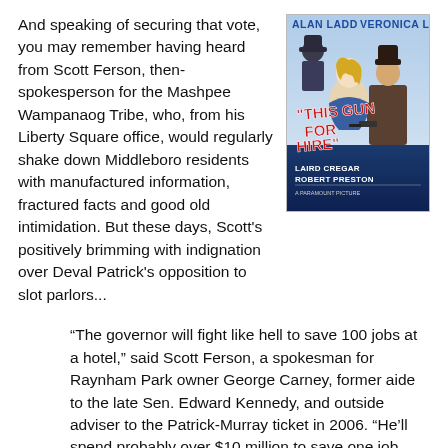And speaking of securing that vote, you may remember having heard from Scott Ferson, then-spokesperson for the Mashpee Wampanaog Tribe, who, from his Liberty Square office, would regularly shake down Middleboro residents with manufactured information, fractured facts and good old intimidation. But these days, Scott's positively brimming with indignation over Deval Patrick's opposition to slot parlors...
[Figure (illustration): Movie poster for 'This Gun For Hire' starring Alan Ladd and Veronica Lake, with Laird Cregar and Robert Preston. Classic noir film poster with illustrated characters.]
“The governor will fight like hell to save 100 jobs at a hotel,” said Scott Ferson, a spokesman for Raynham Park owner George Carney, former aide to the late Sen. Edward Kennedy, and outside adviser to the Patrick-Murray ticket in 2006. “He’ll spend probably over $10 million to save one job, his own. But he seems not to care about the 250 people who would lose their jobs,